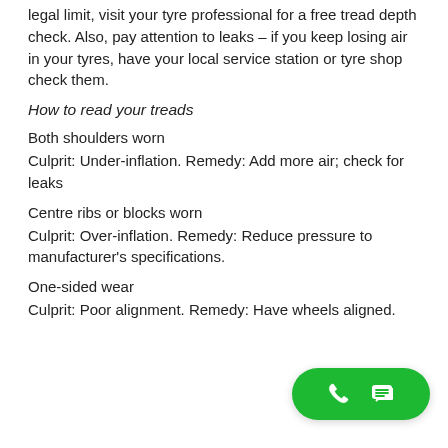legal limit, visit your tyre professional for a free tread depth check. Also, pay attention to leaks – if you keep losing air in your tyres, have your local service station or tyre shop check them.
How to read your treads
Both shoulders worn
Culprit: Under-inflation. Remedy: Add more air; check for leaks
Centre ribs or blocks worn
Culprit: Over-inflation. Remedy: Reduce pressure to manufacturer's specifications.
One-sided wear
Culprit: Poor alignment. Remedy: Have wheels aligned.
[Figure (other): Green floating action button with phone and chat icons]